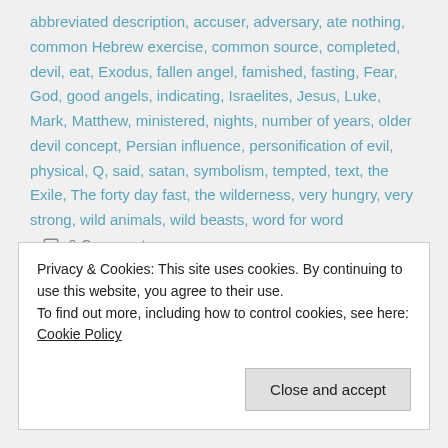abbreviated description, accuser, adversary, ate nothing, common Hebrew exercise, common source, completed, devil, eat, Exodus, fallen angel, famished, fasting, Fear, God, good angels, indicating, Israelites, Jesus, Luke, Mark, Matthew, ministered, nights, number of years, older devil concept, Persian influence, personification of evil, physical, Q, said, satan, symbolism, tempted, text, the Exile, The forty day fast, the wilderness, very hungry, very strong, wild animals, wild beasts, word for word   💬 0 Comments
Privacy & Cookies: This site uses cookies. By continuing to use this website, you agree to their use.
To find out more, including how to control cookies, see here: Cookie Policy